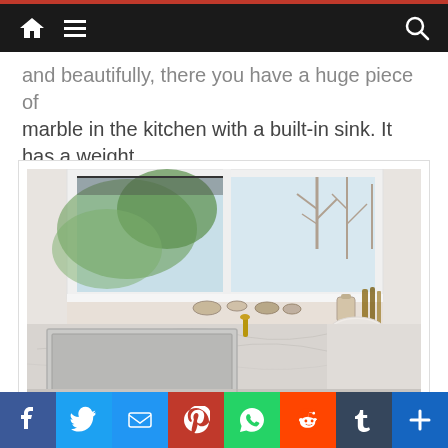Navigation bar with home, menu, and search icons
and beautifully, there you have a huge piece of marble in the kitchen with a built-in sink. It has a weight of around 800 kg.
[Figure (photo): Oversized marble kitchen countertop with integrated sink, large window overlooking trees, gold faucet, ceramic bowls and utensils on the counter]
Oversized marble piece in the kitchen with an integrated sink